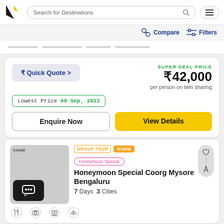Search for Destinations
Compare   Filters
₹ Quick Quote >
SUPER DEAL PRICE
₹42,000
per person on twin sharing
Lowest Price 09 Sep, 2022
Enquire Now
View Details
[Figure (screenshot): Thumbnail image placeholder for KAHM tour with chat icon overlay]
GROUP TOUR  KAHM
Honeymoon Special
Honeymoon Special Coorg Mysore Bengaluru
7 Days  3 Cities